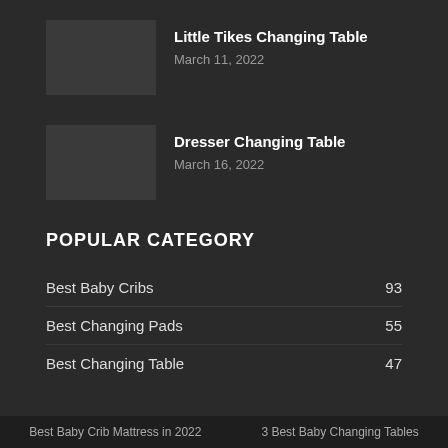Little Tikes Changing Table
March 11, 2022
Dresser Changing Table
March 16, 2022
POPULAR CATEGORY
Best Baby Cribs 93
Best Changing Pads 55
Best Changing Table 47
Best Baby Crib Mattress in 2022   3 Best Baby Changing Tables